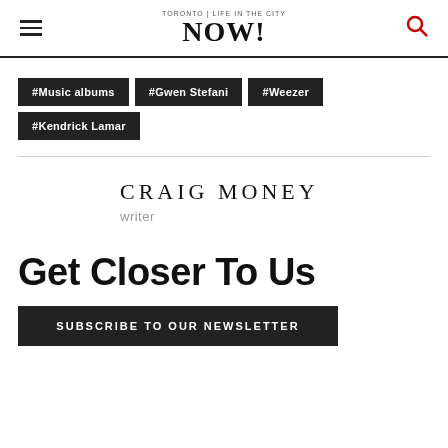NOW! Life in the city
#Music albums
#Gwen Stefani
#Weezer
#Kendrick Lamar
CRAIG MONEY
writer
Get Closer To Us
SUBSCRIBE TO OUR NEWSLETTER